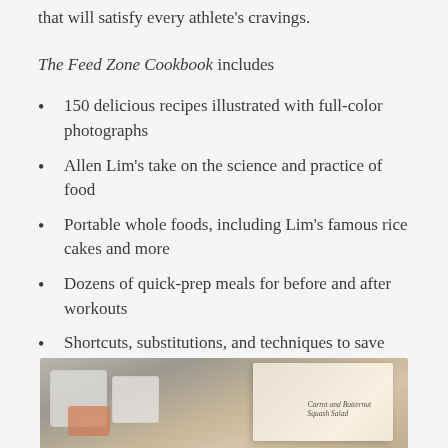that will satisfy every athlete's cravings.
The Feed Zone Cookbook includes
150 delicious recipes illustrated with full-color photographs
Allen Lim's take on the science and practice of food
Portable whole foods, including Lim's famous rice cakes and more
Dozens of quick-prep meals for before and after workouts
Shortcuts, substitutions, and techniques to save time in the kitchen
[Figure (photo): Photo of food containers and an open cookbook showing 'Carrot and Butternut Squash Salad']